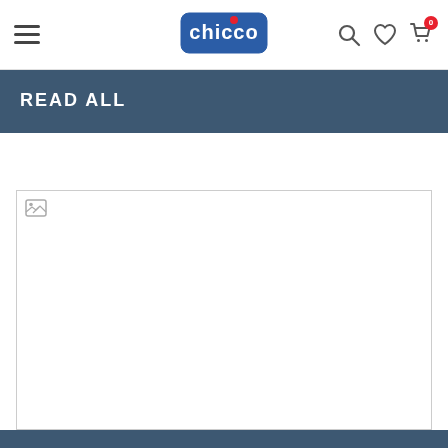chicco
READ ALL
[Figure (photo): Broken/unloaded article image placeholder, white rectangle with broken image icon in top-left corner]
Diet when breastfeeding: food advice